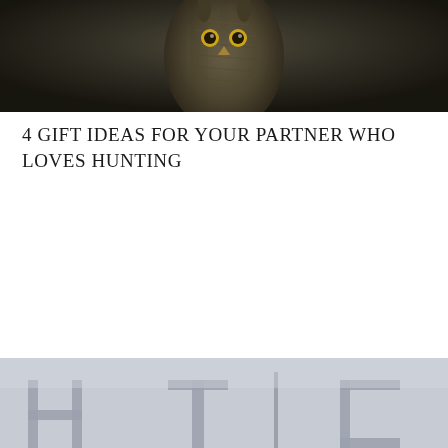[Figure (photo): Dark nature/wildlife photo, appears to show a large owl or bird with textured feathers against a dark background]
4 GIFT IDEAS FOR YOUR PARTNER WHO LOVES HUNTING
[Figure (photo): Partial bottom image with light grey/blue sky background, beginning of large text letters visible at bottom edge]